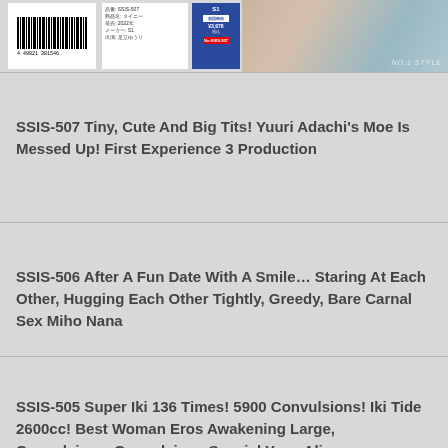[Figure (photo): Product packaging images showing barcode label, Japanese text label, blue product label with price ¥3,978, and a photo of a woman]
SSIS-507 Tiny, Cute And Big Tits! Yuuri Adachi's Moe Is Messed Up! First Experience 3 Production
SSIS-506 After A Fun Date With A Smile… Staring At Each Other, Hugging Each Other Tightly, Greedy, Bare Carnal Sex Miho Nana
SSIS-505 Super Iki 136 Times! 5900 Convulsions! Iki Tide 2600cc! Best Woman Eros Awakening Large, Convulsions, Convulsions Special Yusa Alice